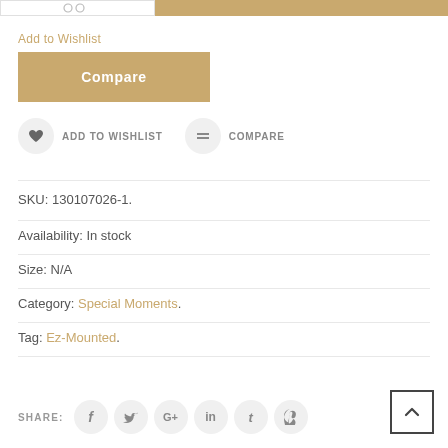[Figure (screenshot): Top partial bar showing white left section with icons and a tan/gold right section button]
Add to Wishlist
[Figure (screenshot): Gold/tan Compare button]
ADD TO WISHLIST   COMPARE
SKU: 130107026-1.
Availability: In stock
Size: N/A
Category: Special Moments.
Tag: Ez-Mounted.
SHARE:
[Figure (screenshot): Social share icons: Facebook, Twitter, Google+, LinkedIn, Tumblr, Pinterest circles and a back-to-top arrow button]